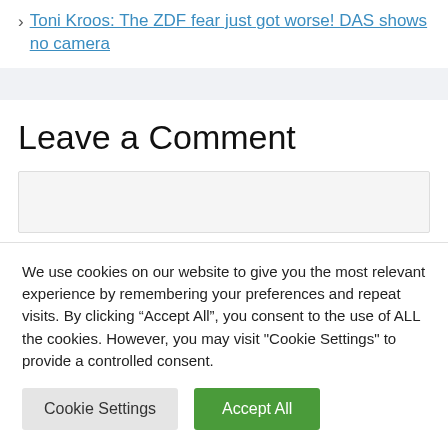› Toni Kroos: The ZDF fear just got worse! DAS shows no camera
Leave a Comment
We use cookies on our website to give you the most relevant experience by remembering your preferences and repeat visits. By clicking "Accept All", you consent to the use of ALL the cookies. However, you may visit "Cookie Settings" to provide a controlled consent.